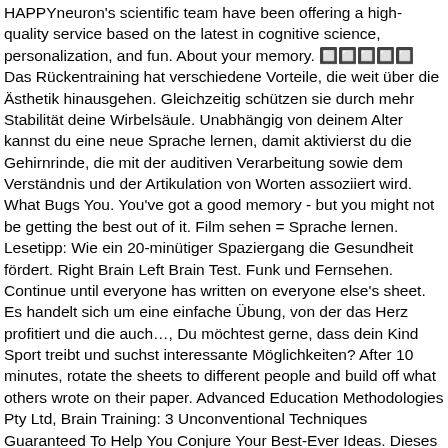HAPPYneuron's scientific team have been offering a high-quality service based on the latest in cognitive science, personalization, and fun. About your memory. 🔲🔲🔲🔲🔲 Das Rückentraining hat verschiedene Vorteile, die weit über die Ästhetik hinausgehen. Gleichzeitig schützen sie durch mehr Stabilität deine Wirbelsäule. Unabhängig von deinem Alter kannst du eine neue Sprache lernen, damit aktivierst du die Gehirnrinde, die mit der auditiven Verarbeitung sowie dem Verständnis und der Artikulation von Worten assoziiert wird. What Bugs You. You've got a good memory - but you might not be getting the best out of it. Film sehen = Sprache lernen. Lesetipp: Wie ein 20-minütiger Spaziergang die Gesundheit fördert. Right Brain Left Brain Test. Funk und Fernsehen. Continue until everyone has written on everyone else's sheet. Es handelt sich um eine einfache Übung, von der das Herz profitiert und die auch…, Du möchtest gerne, dass dein Kind Sport treibt und suchst interessante Möglichkeiten? After 10 minutes, rotate the sheets to different people and build off what others wrote on their paper. Advanced Education Methodologies Pty Ltd, Brain Training: 3 Unconventional Techniques Guaranteed To Help You Conjure Your Best-Ever Ideas. Dieses Denkspiel fordert das Gehirn heraus und trägt dazu bei, dass man lernt, Probleme leichter zu lösen. Hierfür orientieren wir uns